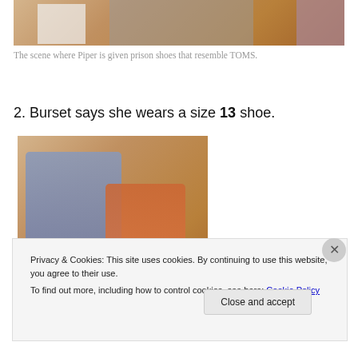[Figure (photo): Top portion of image showing people, partially cropped at top of page]
The scene where Piper is given prison shoes that resemble TOMS.
2. Burset says she wears a size 13 shoe.
[Figure (photo): Scene from Orange Is the New Black showing two women, one in blue prison uniform and one in orange, in what appears to be a prison setting with tiled walls and barred windows]
Privacy & Cookies: This site uses cookies. By continuing to use this website, you agree to their use.
To find out more, including how to control cookies, see here: Cookie Policy